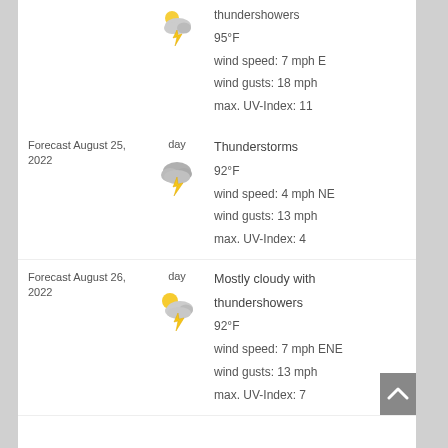thundershowers
95°F
wind speed: 7 mph E
wind gusts: 18 mph
max. UV-Index: 11
Forecast August 25, 2022
day
Thunderstorms
92°F
wind speed: 4 mph NE
wind gusts: 13 mph
max. UV-Index: 4
Forecast August 26, 2022
day
Mostly cloudy with thundershowers
92°F
wind speed: 7 mph ENE
wind gusts: 13 mph
max. UV-Index: 7